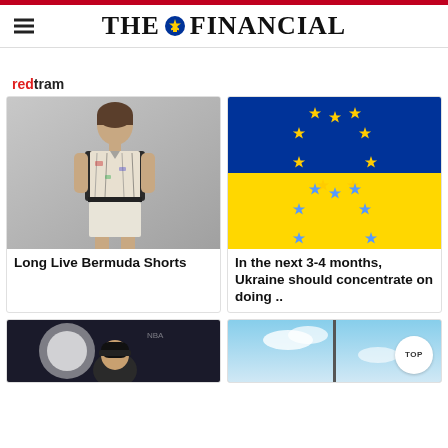THE FINANCIAL
redtram
[Figure (photo): Woman wearing a patterned short-sleeve shirt and white bermuda shorts, standing against a light grey background]
Long Live Bermuda Shorts
[Figure (photo): EU flag overlaid with Ukraine flag — blue top half with yellow EU stars, yellow bottom half with blue EU stars]
In the next 3-4 months, Ukraine should concentrate on doing ..
[Figure (photo): Person wearing a black beanie hat, partial view, dark background with light]
[Figure (photo): Outdoor scene with pole against blue sky and clouds]